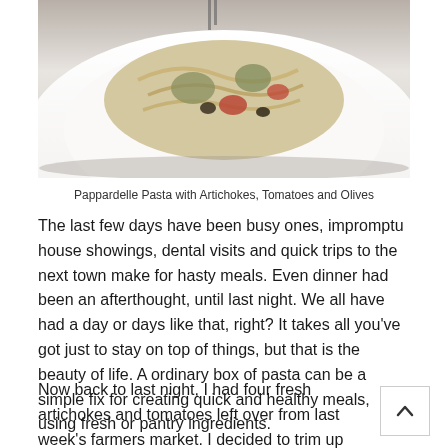[Figure (photo): Close-up photo of a white plate with pappardelle pasta with artichokes, tomatoes and olives]
Pappardelle Pasta with Artichokes, Tomatoes and Olives
The last few days have been busy ones, impromptu house showings, dental visits and quick trips to the next town make for hasty meals. Even dinner had been an afterthought, until last night. We all have had a day or days like that, right? It takes all you've got just to stay on top of things, but that is the beauty of life. A ordinary box of pasta can be a simple fix for creating quick and healthy meals, using fresh or pantry ingredients.
Now back to last night, I had four fresh artichokes and tomatoes left over from last week's farmers market. I decided to trim up the artichokes so that the stem and